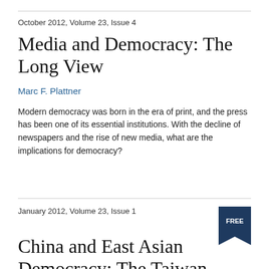October 2012, Volume 23, Issue 4
Media and Democracy: The Long View
Marc F. Plattner
Modern democracy was born in the era of print, and the press has been one of its essential institutions. With the decline of newspapers and the rise of new media, what are the implications for democracy?
January 2012, Volume 23, Issue 1
China and East Asian Democracy: The Taiwan